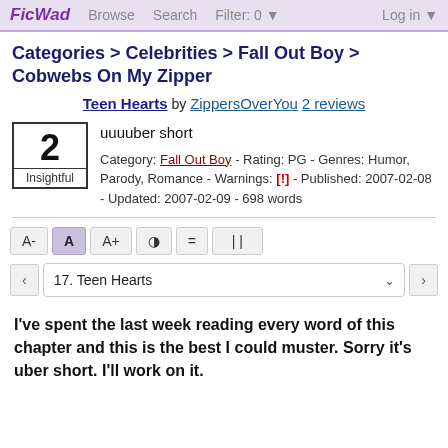FicWad   Browse   Search   Filter: 0 ▼   Log in ▼
Categories > Celebrities > Fall Out Boy > Cobwebs On My Zipper
Teen Hearts by ZippersOverYou 2 reviews
2 Insightful
uuuuber short
Category: Fall Out Boy - Rating: PG - Genres: Humor, Parody, Romance - Warnings: [!] - Published: 2007-02-08 - Updated: 2007-02-09 - 698 words
A-  A  A+  ◑  =  ||
‹  17. Teen Hearts  ›
I've spent the last week reading every word of this chapter and this is the best I could muster. Sorry it's uber short. I'll work on it.